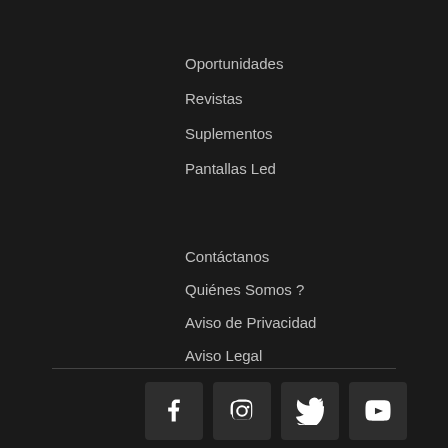Oportunidades
Revistas
Suplementos
Pantallas Led
Contáctanos
Quiénes Somos ?
Aviso de Privacidad
Aviso Legal
[Figure (infographic): Social media icons row: Facebook, Instagram, Twitter, YouTube]